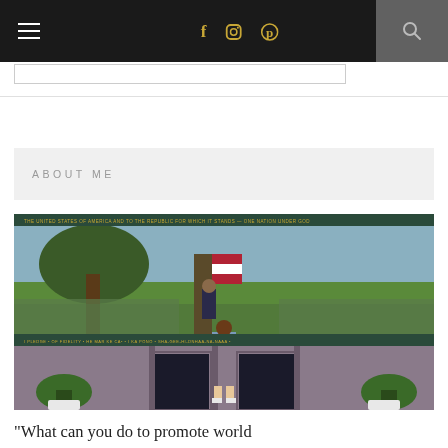Navigation bar with hamburger menu, social icons (f, instagram, pinterest), and search
ABOUT ME
[Figure (photo): Woman in blue polka-dot pants and grey top standing in front of a large patriotic mural depicting diverse people gathered around a figure at a podium with an American flag, with text along the top and bottom of the mural, and plants flanking the entrance below.]
"What can you do to promote world